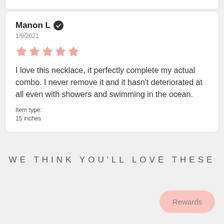Manon L ✓
1/9/2021
★★★★★
I love this necklace, it perfectly complete my actual combo. I never remove it and it hasn't deteriorated at all even with showers and swimming in the ocean.
Item type:
15 inches
WE THINK YOU'LL LOVE THESE
Rewards